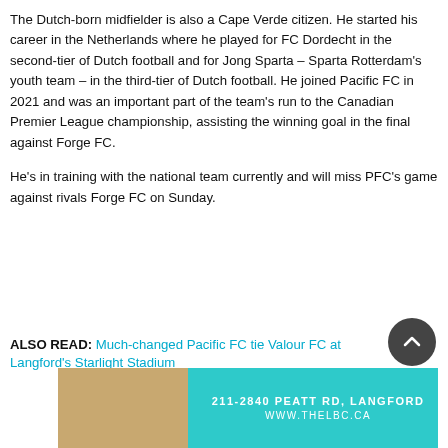The Dutch-born midfielder is also a Cape Verde citizen. He started his career in the Netherlands where he played for FC Dordecht in the second-tier of Dutch football and for Jong Sparta – Sparta Rotterdam's youth team – in the third-tier of Dutch football. He joined Pacific FC in 2021 and was an important part of the team's run to the Canadian Premier League championship, assisting the winning goal in the final against Forge FC.
He's in training with the national team currently and will miss PFC's game against rivals Forge FC on Sunday.
ALSO READ: Much-changed Pacific FC tie Valour FC at Langford's Starlight Stadium
[Figure (other): Advertisement banner for The LBC at 211-2840 Peatt Rd, Langford. Website: www.thelbc.ca. Teal/cyan background with interior photo on left side.]